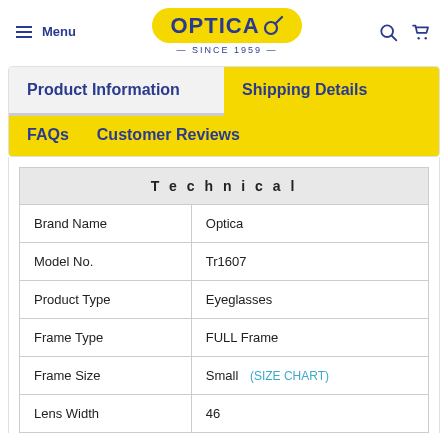Menu | OPTICA — SINCE 1959 — | [search] [cart]
Product Information
Shipping Details
FAQs
Customer Reviews
| Technical |  |
| --- | --- |
| Brand Name | Optica |
| Model No. | Tr1607 |
| Product Type | Eyeglasses |
| Frame Type | FULL Frame |
| Frame Size | Small  (SIZE CHART) |
| Lens Width | 46 |